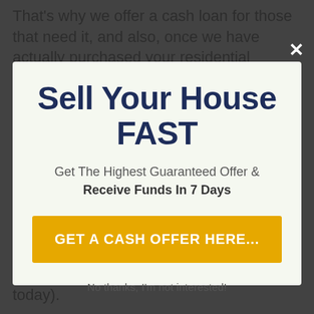That's why we offer a cash loan for those that need it, and also, once we have actually purchased your residential property, we can also permit you to
Sell Your House FAST
Get The Highest Guaranteed Offer & Receive Funds In 7 Days
GET A CASH OFFER HERE...
that assure to purchase your house quickly (or might be speaking with them today).
No thanks, I'm not interested!